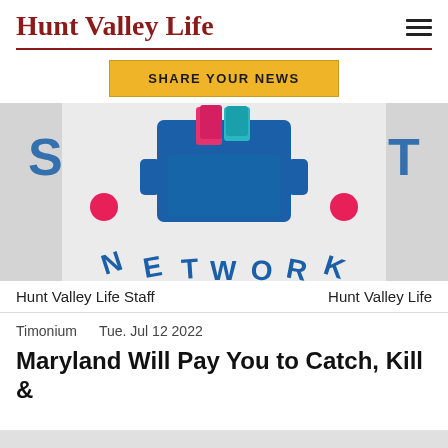Hunt Valley Life
[Figure (logo): Hunt Valley Life Staff Network logo — partial crop showing mailbox/inbox icon with colorful papers, bold blue NETWORK text curved at bottom, pink dots, letters S and T on sides, on light gray background]
Hunt Valley Life Staff    Hunt Valley Life
Timonium    Tue. Jul 12 2022
Maryland Will Pay You to Catch, Kill &